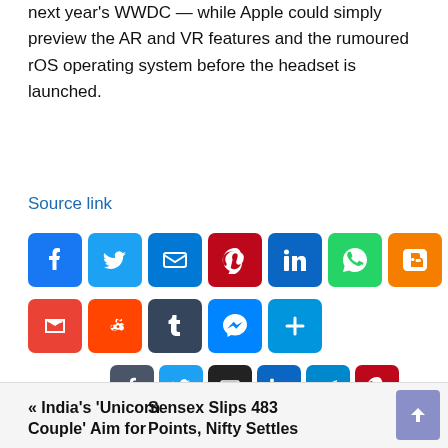next year's WWDC — while Apple could simply preview the AR and VR features and the rumoured rOS operating system before the headset is launched.
Source link
[Figure (infographic): Social media share buttons: Facebook (blue), Twitter (blue), Email (blue), Pinterest (dark red), LinkedIn (blue), WhatsApp (green), Blogger (orange), Copy link (blue), Gmail (red), Reddit (orange), Tumblr (dark grey), Messenger (blue), More (blue)]
[Figure (infographic): Smaller social share buttons row: Facebook (dark blue-grey), Twitter (light blue), Email (black), LinkedIn (blue-grey), Telegram (teal), Pinterest (red)]
« India's 'Unicorn Couple' Aim for
Sensex Slips 483 Points, Nifty Settles